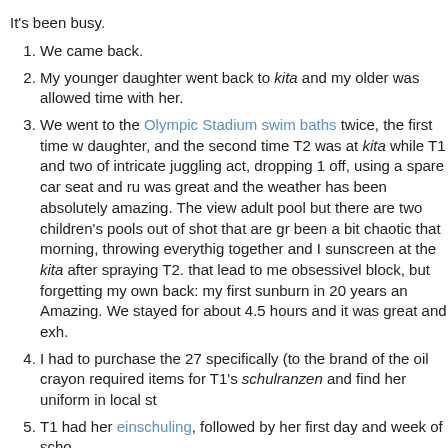It's been busy.
We came back.
My younger daughter went back to kita and my older was allowed time with her.
We went to the Olympic Stadium swim baths twice, the first time w daughter, and the second time T2 was at kita while T1 and two of intricate juggling act, dropping 1 off, using a spare car seat and ru was great and the weather has been absolutely amazing. The view adult pool but there are two children's pools out of shot that are gr been a bit chaotic that morning, throwing everythig together and I sunscreen at the kita after spraying T2. that lead to me obsessively block, but forgetting my own back: my first sunburn in 20 years an Amazing. We stayed for about 4.5 hours and it was great and exh.
I had to purchase the 27 specifically (to the brand of the oil crayon required items for T1's schulranzen and find her uniform in local st
T1 had her einschuling, followed by her first day and week of scho
We are continuing our ballete and swimming lessons start next we twice a week.
We are also attempting to survive having to get up over 1 hour ea Poor T2 needs to be woken by me every morning and they are at school 1 hour plus earlier while I pick them up an average 1 hour every day. T2 has been falling asleep i the car on the way back. O the plus side, although still a bit annoying in the evenings (cran